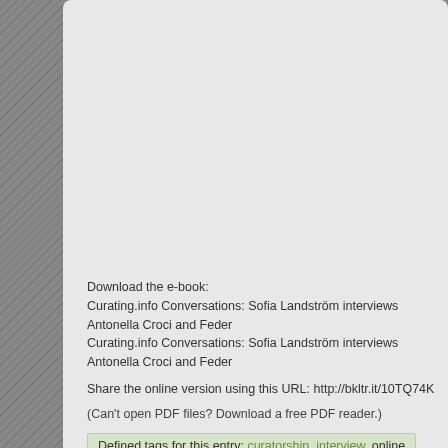Download the e-book:
Curating.info Conversations: Sofia Landström interviews Antonella Croci and Feder...
Curating.info Conversations: Sofia Landström interviews Antonella Croci and Feder...
Share the online version using this URL: http://bkltr.it/10TQ74K
(Can't open PDF files? Download a free PDF reader.)
Defined tags for this entry: curatorship, interview, online
REVIEW: EVERY CURATOR'S HANDBOOK
Posted by Sofia Landström • Tuesday, April 16, 2013 • Category: Reviews & Resources
Review: Every Curator's Handbook - http://pai.sthlm.in/images/Every_Curator's_Ha...
by Sofia Landström
This compendium offers hands-on professional insights wherein different authors fr... experiences from their professional careers as curators. The reader gets a specific a... curator's work might look like beyond theory.